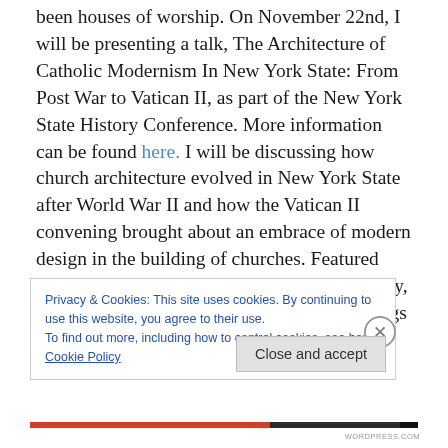been houses of worship. On November 22nd, I will be presenting a talk, The Architecture of Catholic Modernism In New York State: From Post War to Vatican II, as part of the New York State History Conference. More information can be found here. I will be discussing how church architecture evolved in New York State after World War II and how the Vatican II convening brought about an embrace of modern design in the building of churches. Featured prominently will be the work of John O'Malley, the architect for close to 100 Catholic buildings in New York City and Long Island, including American Martyrs
Privacy & Cookies: This site uses cookies. By continuing to use this website, you agree to their use.
To find out more, including how to control cookies, see here: Cookie Policy
Close and accept